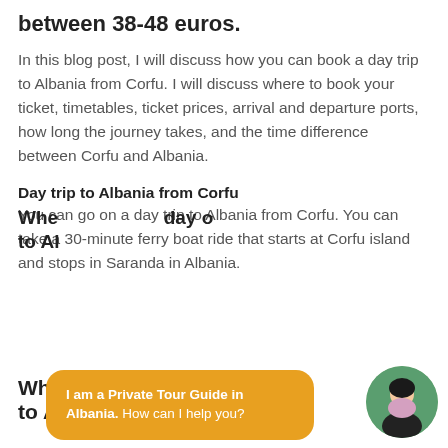between 38-48 euros.
In this blog post, I will discuss how you can book a day trip to Albania from Corfu. I will discuss where to book your ticket, timetables, ticket prices, arrival and departure ports, how long the journey takes, and the time difference between Corfu and Albania.
Day trip to Albania from Corfu
You can go on a day trip to Albania from Corfu. You can take a 30-minute ferry boat ride that starts at Corfu island and stops in Saranda in Albania.
Whe...day...to Al...
[Figure (other): Chat popup widget with golden/amber background reading 'I am a Private Tour Guide in Albania. How can I help you?' and a circular avatar photo of a woman on the right side.]